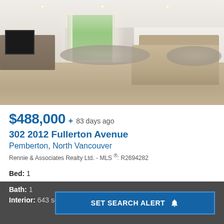[Figure (photo): Interior photo of a modern living room with hardwood floors, large sectional sofa, wall-mounted TV on a floating media unit, floor-to-ceiling curtains, recessed lighting, and shag rugs]
$488,000 + 83 days ago
302 2012 Fullerton Avenue
Pemberton, North Vancouver
Rennie & Associates Realty Ltd. - MLS ®: R2694282
Bed: 1
Bath: 1
Interior: 643 sq/ft